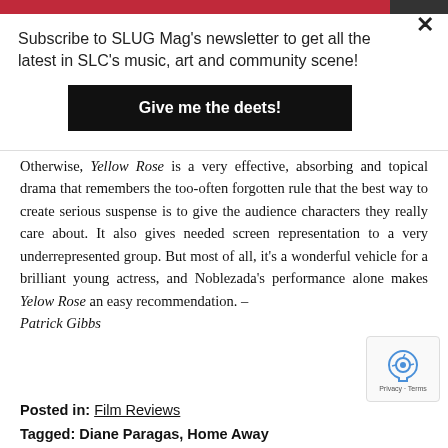Subscribe to SLUG Mag's newsletter to get all the latest in SLC's music, art and community scene!
Give me the deets!
Otherwise, Yellow Rose is a very effective, absorbing and topical drama that remembers the too-often forgotten rule that the best way to create serious suspense is to give the audience characters they really care about. It also gives needed screen representation to a very underrepresented group. But most of all, it's a wonderful vehicle for a brilliant young actress, and Noblezada's performance alone makes Yelow Rose an easy recommendation. – Patrick Gibbs
Posted in: Film Reviews
Tagged: Diane Paragas, Home Away